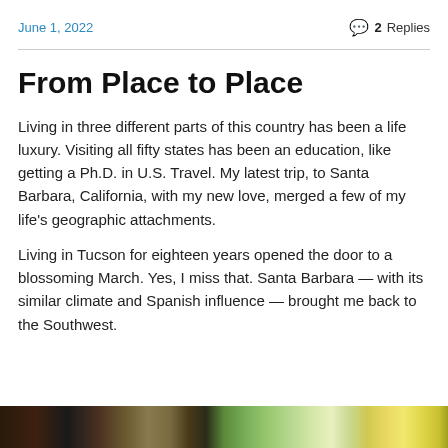June 1, 2022
💬 2 Replies
From Place to Place
Living in three different parts of this country has been a life luxury. Visiting all fifty states has been an education, like getting a Ph.D. in U.S. Travel. My latest trip, to Santa Barbara, California, with my new love, merged a few of my life's geographic attachments.
Living in Tucson for eighteen years opened the door to a blossoming March. Yes, I miss that. Santa Barbara — with its similar climate and Spanish influence — brought me back to the Southwest.
[Figure (photo): A colorful outdoor photograph strip showing foliage and flowers in purples, greens, and yellows, partially visible at the bottom of the page.]